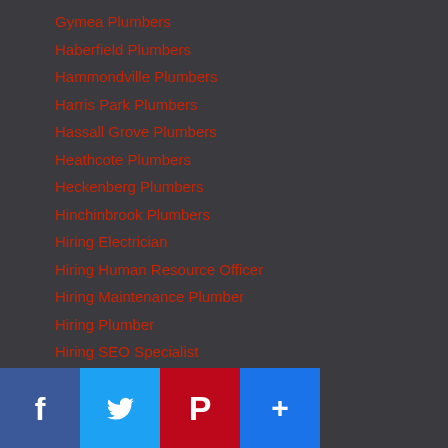Gymea Plumbers
Haberfield Plumbers
Hammondville Plumbers
Harris Park Plumbers
Hassall Grove Plumbers
Heathcote Plumbers
Heckenberg Plumbers
Hinchinbrook Plumbers
Hiring Electrician
Hiring Human Resource Officer
Hiring Maintenance Plumber
Hiring Plumber
Hiring SEO Specialist
Holsworthy Plumbers
Hot Water System Health Check
Hot Water Systems Abbotsford
Hot Water Systems Ashcroft
Hot Water Systems Auburn
Hot Water Systems Auchenflower